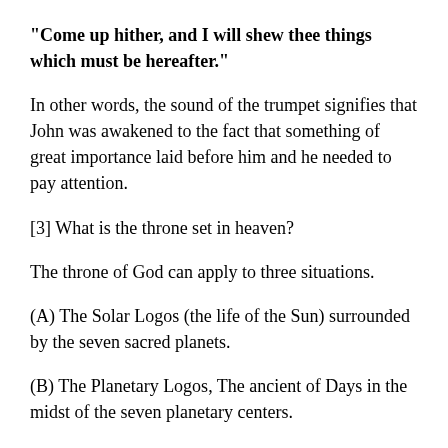“Come up hither, and I will shew thee things which must be hereafter.”
In other words, the sound of the trumpet signifies that John was awakened to the fact that something of great importance laid before him and he needed to pay attention.
[3] What is the throne set in heaven?
The throne of God can apply to three situations.
(A) The Solar Logos (the life of the Sun) surrounded by the seven sacred planets.
(B) The Planetary Logos, The ancient of Days in the midst of the seven planetary centers.
(C) The Center between the eyebrows wherein we find the inner God in the midst of the seven centers of the